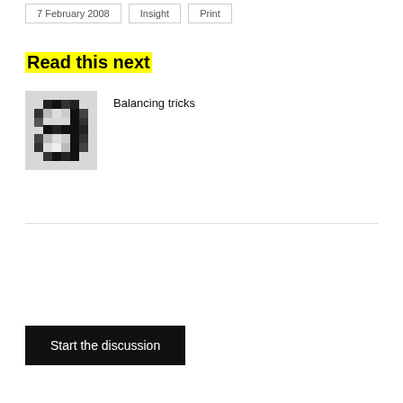7 February 2008 | Insight | Print
Read this next
[Figure (illustration): Pixelated/blocky letter 'a' illustration in black and grey on white background, resembling a zoomed-in bitmap font glyph.]
Balancing tricks
Start the discussion